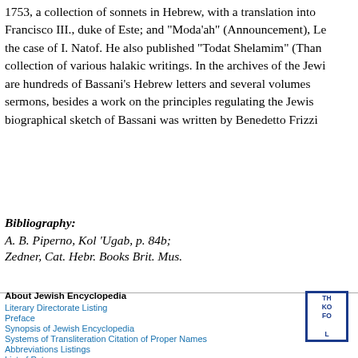1753, a collection of sonnets in Hebrew, with a translation into Francisco III., duke of Este; and "Moda'ah" (Announcement), Le the case of I. Natof. He also published "Todat Shelamim" (Than collection of various halakic writings. In the archives of the Jewi are hundreds of Bassani's Hebrew letters and several volumes sermons, besides a work on the principles regulating the Jewis biographical sketch of Bassani was written by Benedetto Frizzi
Bibliography:
A. B. Piperno, Kol 'Ugab, p. 84b;
Zedner, Cat. Hebr. Books Brit. Mus.
About Jewish Encyclopedia
Literary Directorate Listing
Preface
Synopsis of Jewish Encyclopedia
Systems of Transliteration Citation of Proper Names
Abbreviations Listings
List of Patrons